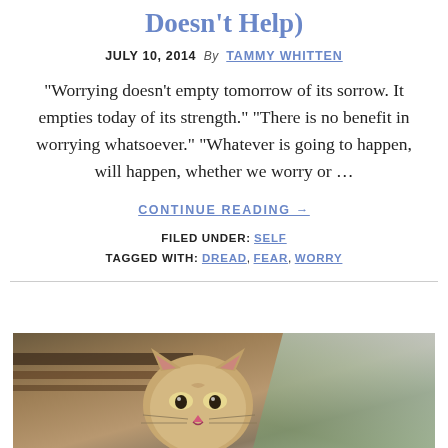Doesn't Help)
JULY 10, 2014  By  TAMMY WHITTEN
"Worrying doesn't empty tomorrow of its sorrow. It empties today of its strength." "There is no benefit in worrying whatsoever." "Whatever is going to happen, will happen, whether we worry or …
CONTINUE READING →
FILED UNDER: SELF
TAGGED WITH: DREAD, FEAR, WORRY
[Figure (photo): A close-up photo of a cat or similar animal near what appears to be a wooden desk or furniture, with a blurred background.]